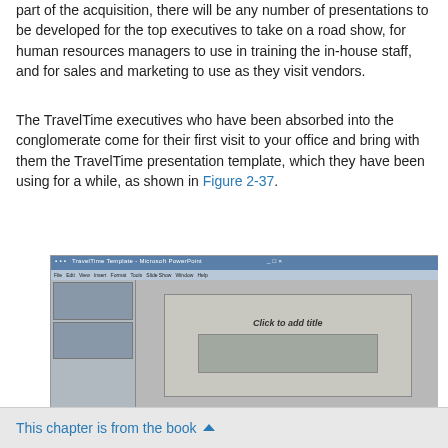part of the acquisition, there will be any number of presentations to be developed for the top executives to take on a road show, for human resources managers to use in training the in-house staff, and for sales and marketing to use as they visit vendors.
The TravelTime executives who have been absorbed into the conglomerate come for their first visit to your office and bring with them the TravelTime presentation template, which they have been using for a while, as shown in Figure 2-37.
[Figure (screenshot): Screenshot of a PowerPoint-like presentation application showing the TravelTime presentation template. The slide panel on the left shows thumbnail slides, and the main area shows a slide with 'Click to add title' placeholder text and a background image.]
This chapter is from the book